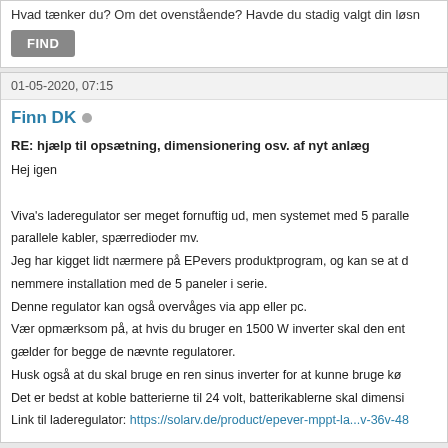Hvad tænker du? Om det ovenstående? Havde du stadig valgt din løsn
FIND
01-05-2020, 07:15
Finn DK
RE: hjælp til opsætning, dimensionering osv. af nyt anlæg
Hej igen
Viva's laderegulator ser meget fornuftig ud, men systemet med 5 parallele kabler, spærredioder mv.
Jeg har kigget lidt nærmere på EPevers produktprogram, og kan se at d nemmere installation med de 5 paneler i serie.
Denne regulator kan også overvåges via app eller pc.
Vær opmærksom på, at hvis du bruger en 1500 W inverter skal den ent gælder for begge de nævnte regulatorer.
Husk også at du skal bruge en ren sinus inverter for at kunne bruge kø
Det er bedst at koble batterierne til 24 volt, batterikablerne skal dimensi
Link til laderegulator: https://solarv.de/product/epever-mppt-la...v-36v-48